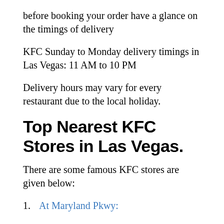before booking your order have a glance on the timings of delivery
KFC Sunday to Monday delivery timings in Las Vegas: 11 AM to 10 PM
Delivery hours may vary for every restaurant due to the local holiday.
Top Nearest KFC Stores in Las Vegas.
There are some famous KFC stores are given below:
At Maryland Pkwy: